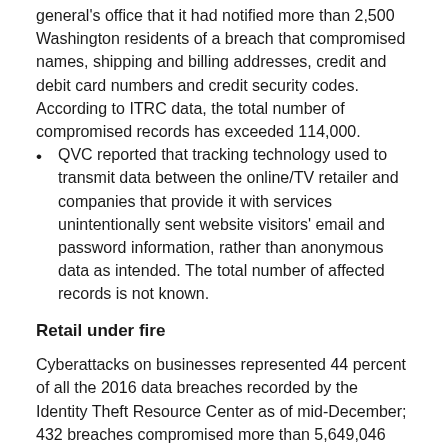general's office that it had notified more than 2,500 Washington residents of a breach that compromised names, shipping and billing addresses, credit and debit card numbers and credit security codes. According to ITRC data, the total number of compromised records has exceeded 114,000.
QVC reported that tracking technology used to transmit data between the online/TV retailer and companies that provide it with services unintentionally sent website visitors' email and password information, rather than anonymous data as intended. The total number of affected records is not known.
Retail under fire
Cyberattacks on businesses represented 44 percent of all the 2016 data breaches recorded by the Identity Theft Resource Center as of mid-December; 432 breaches compromised more than 5,649,046 records. A retail breach